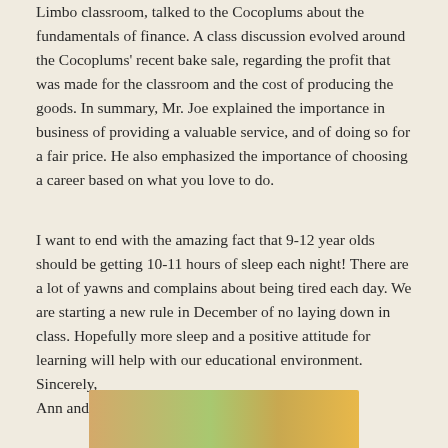Limbo classroom, talked to the Cocoplums about the fundamentals of finance. A class discussion evolved around the Cocoplums' recent bake sale, regarding the profit that was made for the classroom and the cost of producing the goods. In summary, Mr. Joe explained the importance in business of providing a valuable service, and of doing so for a fair price. He also emphasized the importance of choosing a career based on what you love to do.
I want to end with the amazing fact that 9-12 year olds should be getting 10-11 hours of sleep each night! There are a lot of yawns and complains about being tired each day. We are starting a new rule in December of no laying down in class. Hopefully more sleep and a positive attitude for learning will help with our educational environment.
Sincerely,
Ann and Ashleigh
[Figure (photo): Partial view of a photo showing what appears to be a map or colorful educational material, visible at the bottom of the page.]